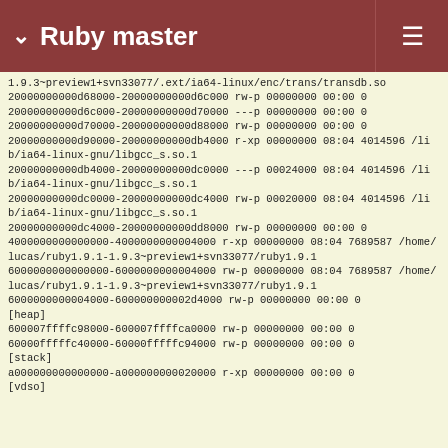Ruby master
1.9.3~preview1+svn33077/.ext/ia64-linux/enc/trans/transdb.so
20000000000d68000-20000000000d6c000 rw-p 00000000 00:00 0
20000000000d6c000-20000000000d70000 ---p 00000000 00:00 0
20000000000d70000-20000000000d88000 rw-p 00000000 00:00 0
20000000000d90000-20000000000db4000 r-xp 00000000 08:04 4014596 /lib/ia64-linux-gnu/libgcc_s.so.1
20000000000db4000-20000000000dc0000 ---p 00024000 08:04 4014596 /lib/ia64-linux-gnu/libgcc_s.so.1
20000000000dc0000-20000000000dc4000 rw-p 00020000 08:04 4014596 /lib/ia64-linux-gnu/libgcc_s.so.1
20000000000dc4000-20000000000dd8000 rw-p 00000000 00:00 0
4000000000000000-4000000000004000 r-xp 00000000 08:04 7689587 /home/lucas/ruby1.9.1-1.9.3~preview1+svn33077/ruby1.9.1
6000000000000000-6000000000004000 rw-p 00000000 08:04 7689587 /home/lucas/ruby1.9.1-1.9.3~preview1+svn33077/ruby1.9.1
6000000000004000-600000000002d4000 rw-p 00000000 00:00 0
[heap]
600007ffffc98000-600007ffffca0000 rw-p 00000000 00:00 0
60000fffffc40000-60000fffffc94000 rw-p 00000000 00:00 0
[stack]
a000000000000000-a000000000020000 r-xp 00000000 00:00 0
[vdso]